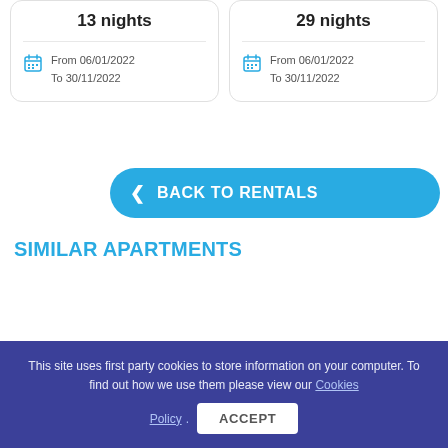13 nights
From 06/01/2022
To 30/11/2022
29 nights
From 06/01/2022
To 30/11/2022
< BACK TO RENTALS
SIMILAR APARTMENTS
This site uses first party cookies to store information on your computer. To find out how we use them please view our Cookies Policy.
ACCEPT